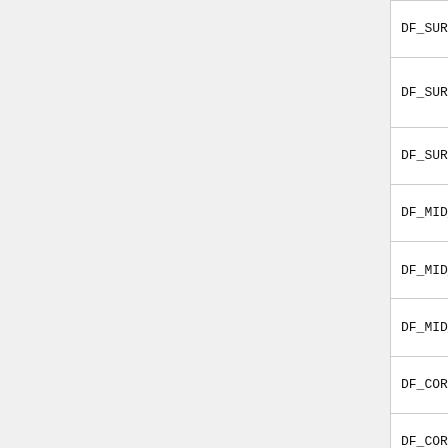| Name | Shape | Description |
| --- | --- | --- |
| DF_SURF_IN_CURR | 2G × N_S | Inward surface current |
| DF_SURF_OUT_CURR | 2G × N_S | Outward surface current |
| DF_SURF_NET_CURR | 2G × N_S | Net surface current |
| DF_MID_IN_CURR | 2G × N_S | Inward point current |
| DF_MID_OUT_CURR | 2G × N_S | Outward point current |
| DF_MID_NET_CURR | 2G × N_S | Net mid current |
| DF_CORN_IN_CURR | 2G × N_C | Inward corner current |
| DF_CORN_OUT_CURR | 2G × N_C | Outward corner |